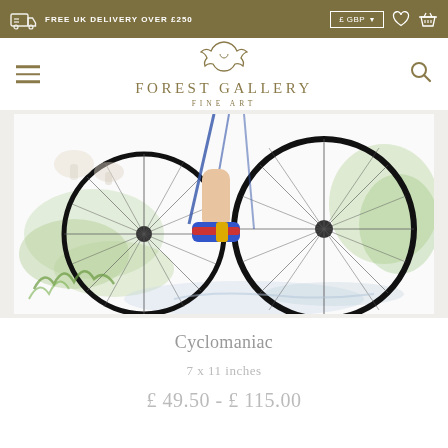FREE UK DELIVERY OVER £250  |  £ GBP
[Figure (logo): Forest Gallery Fine Art logo with fox-like animal silhouette above text FOREST GALLERY FINE ART]
[Figure (photo): Watercolour painting close-up of a bicycle wheel and cyclist's foot wearing a red and blue shoe, with green painted grass and foliage in background, titled Cyclomaniac]
Cyclomaniac
7 x 11 inches
£ 49.50 - £ 115.00